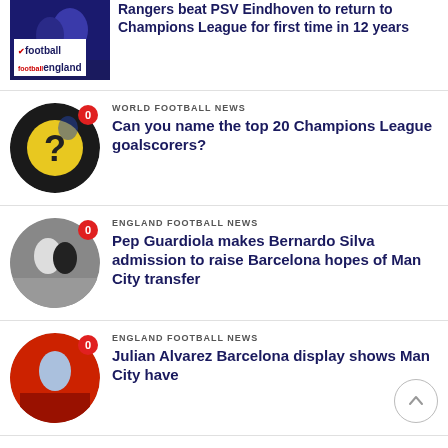Rangers beat PSV Eindhoven to return to Champions League for first time in 12 years
WORLD FOOTBALL NEWS
Can you name the top 20 Champions League goalscorers?
ENGLAND FOOTBALL NEWS
Pep Guardiola makes Bernardo Silva admission to raise Barcelona hopes of Man City transfer
ENGLAND FOOTBALL NEWS
Julian Alvarez Barcelona display shows Man City have